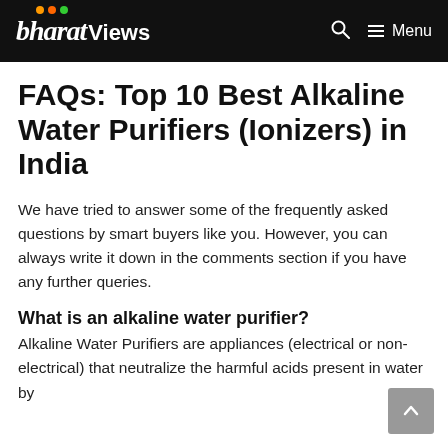bharatViews — Menu
FAQs: Top 10 Best Alkaline Water Purifiers (Ionizers) in India
We have tried to answer some of the frequently asked questions by smart buyers like you. However, you can always write it down in the comments section if you have any further queries.
What is an alkaline water purifier?
Alkaline Water Purifiers are appliances (electrical or non-electrical) that neutralize the harmful acids present in water by